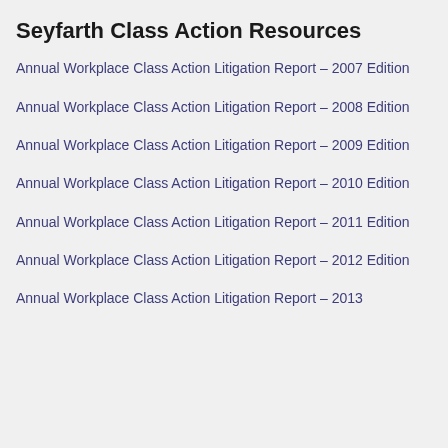Seyfarth Class Action Resources
Annual Workplace Class Action Litigation Report – 2007 Edition
Annual Workplace Class Action Litigation Report – 2008 Edition
Annual Workplace Class Action Litigation Report – 2009 Edition
Annual Workplace Class Action Litigation Report – 2010 Edition
Annual Workplace Class Action Litigation Report – 2011 Edition
Annual Workplace Class Action Litigation Report – 2012 Edition
Annual Workplace Class Action Litigation Report – 2013